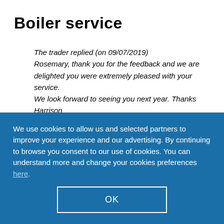Boiler service
The trader replied (on 09/07/2019)
Rosemary, thank you for the feedback and we are delighted you were extremely pleased with your service. We look forward to seeing you next year. Thanks Harrison
We use cookies to allow us and selected partners to improve your experience and our advertising. By continuing to browse you consent to our use of cookies. You can understand more and change your cookies preferences here.
OK